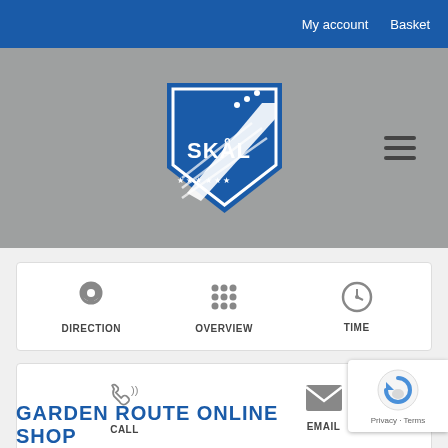My account  Basket
[Figure (logo): SKÅL International logo — blue shield with white lettering and stylized airplane/stairs design. Grey background banner with hamburger menu icon on the right.]
DIRECTION  OVERVIEW  TIME
CALL  EMAIL
GARDEN ROUTE ONLINE SHOP